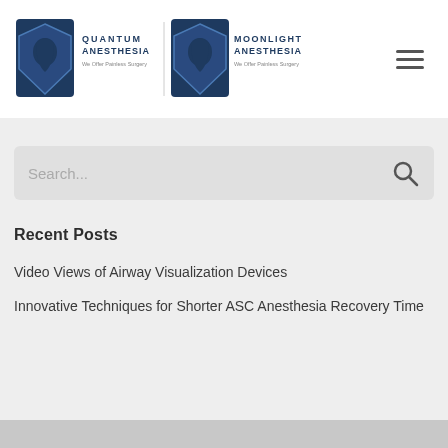[Figure (logo): Quantum Anesthesia and Moonlight Anesthesia dual logos with shield emblems and tagline 'We Offer Painless Surgery']
[Figure (other): Hamburger menu icon (three horizontal lines)]
[Figure (other): Search bar with placeholder text 'Search...' and magnifying glass icon]
Recent Posts
Video Views of Airway Visualization Devices
Innovative Techniques for Shorter ASC Anesthesia Recovery Time